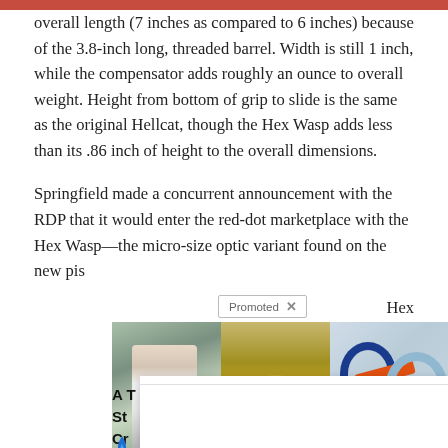overall length (7 inches as compared to 6 inches) because of the 3.8-inch long, threaded barrel. Width is still 1 inch, while the compensator adds roughly an ounce to overall weight. Height from bottom of grip to slide is the same as the original Hellcat, though the Hex Wasp adds less than its .86 inch of height to the overall dimensions.
Springfield made a concurrent announcement with the RDP that it would enter the red-dot marketplace with the Hex Wasp—the micro-size optic variant found on the new pis [Promoted X] Hex
[Figure (photo): Advertisement images: left shows a woman in athletic wear and a pile of yellow powder (turmeric); right shows colorful shackle/carabiner accessories in blue, orange, and light blue colors]
A T... St... e Cr...